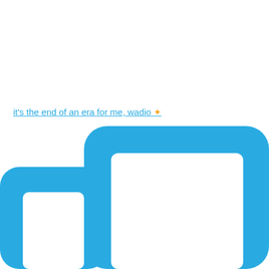it's the end of an era for me, wadio ✦
[Figure (illustration): Two overlapping device outlines (tablet/phone) rendered in solid sky blue with rounded corners and white interiors, partially cropped at the bottom of the image.]